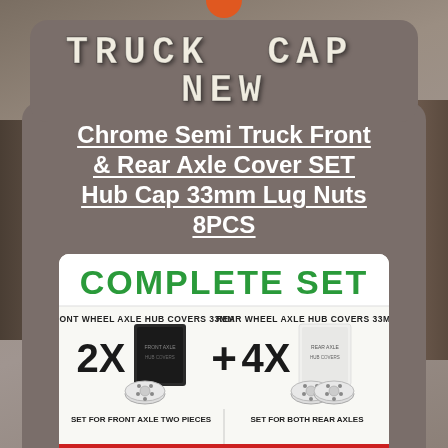TRUCK CAP NEW
Chrome Semi Truck Front & Rear Axle Cover SET Hub Cap 33mm Lug Nuts 8PCS
[Figure (infographic): Complete Set infographic showing 2x Front Wheel Axle Hub Covers 33mm plus 4x Rear Wheel Axle Hub Covers 33mm. Text: COMPLETE SET, FRONT WHEEL AXLE HUB COVERS 33MM, 2X, REAR WHEEL AXLE HUB COVERS 33MM, 4X, SET FOR FRONT AXLE TWO PIECES, SET FOR BOTH REAR AXLES]